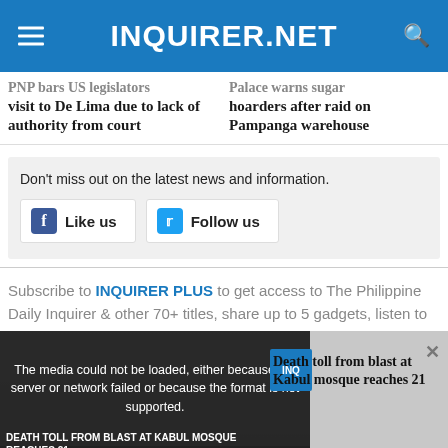INQUIRER.NET
PNP bars US legislators visit to De Lima due to lack of authority from court
Palace warns sugar hoarders after raid on Pampanga warehouse
Don't miss out on the latest news and information.
Like us
Follow us
Subscribe to INQUIRER PLUS to get access to The Philippine Daily Inquirer & other 70+ titles, share up to 5 gadgets, listen to
[Figure (screenshot): Video player overlay showing error message: 'The media could not be loaded, either because the server or network failed or because the format is not supported.' with video title 'Death toll from blast at Kabul mosque reaches 21' and close button]
Death toll from blast at Kabul mosque reaches 21
DEATH TOLL FROM BLAST AT KABUL MOSQUE REACHES 21